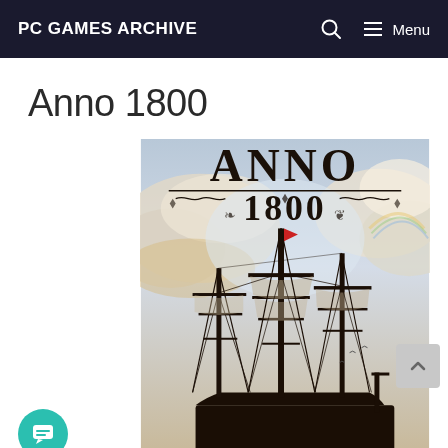PC GAMES ARCHIVE
Anno 1800
[Figure (illustration): Anno 1800 game cover art showing tall sailing ships with masts and rigging against a dramatic cloudy sky, with the game title 'ANNO 1800' in ornate serif lettering at the top]